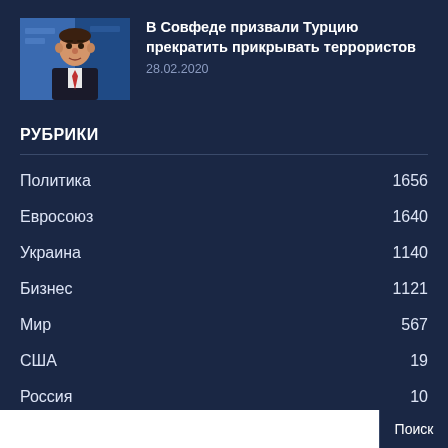[Figure (photo): Photo of a middle-aged man in a suit at a press conference with blurred background showing Cyrillic text]
В Совфеде призвали Турцию прекратить прикрывать террористов
28.02.2020
РУБРИКИ
Политика 1656
Евросоюз 1640
Украина 1140
Бизнес 1121
Мир 567
США 19
Россия 10
Поиск